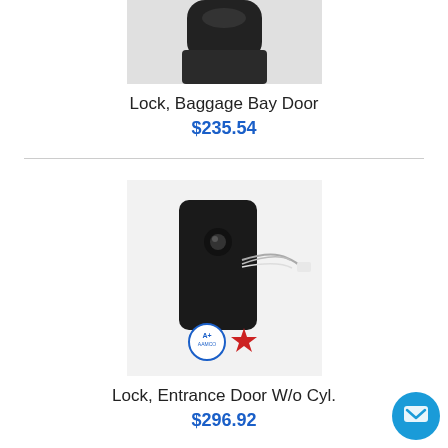[Figure (photo): Partial photo of a dark-colored Lock, Baggage Bay Door part cropped at top]
Lock, Baggage Bay Door
$235.54
[Figure (photo): Photo of Lock, Entrance Door W/o Cyl. showing a black rectangular lock body with wire leads, a circular A+ label badge, and a red star-shaped key cap on a white surface]
Lock, Entrance Door W/o Cyl.
$296.92